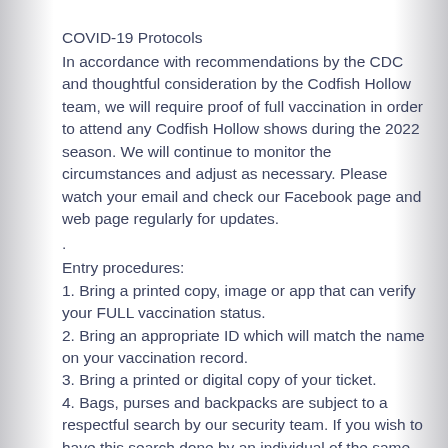COVID-19 Protocols
In accordance with recommendations by the CDC and thoughtful consideration by the Codfish Hollow team, we will require proof of full vaccination in order to attend any Codfish Hollow shows during the 2022 season. We will continue to monitor the circumstances and adjust as necessary. Please watch your email and check our Facebook page and web page regularly for updates.
.
Entry procedures:
1. Bring a printed copy, image or app that can verify your FULL vaccination status.
2. Bring an appropriate ID which will match the name on your vaccination record.
3. Bring a printed or digital copy of your ticket.
4. Bags, purses and backpacks are subject to a respectful search by our security team. If you wish to have this search done by an individual of the same sex, please let them know at the